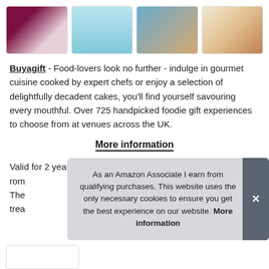[Figure (photo): Four thumbnail images in a row: gift box/brochure, UK map with red dots, couple dining, and a plated gourmet food dish]
Buyagift - Food-lovers look no further - indulge in gourmet cuisine cooked by expert chefs or enjoy a selection of delightfully decadent cakes, you'll find yourself savouring every mouthful. Over 725 handpicked foodie gift experiences to choose from at venues across the UK.
More information
Valid for 2 years from the date of purchase. Everything from rom[antic...] The[...] trea[t...]
As an Amazon Associate I earn from qualifying purchases. This website uses the only necessary cookies to ensure you get the best experience on our website. More information